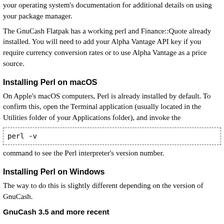your operating system's documentation for additional details on using your package manager.
The GnuCash Flatpak has a working perl and Finance::Quote already installed. You will need to add your Alpha Vantage API key if you require currency conversion rates or to use Alpha Vantage as a price source.
Installing Perl on macOS
On Apple's macOS computers, Perl is already installed by default. To confirm this, open the Terminal application (usually located in the Utilities folder of your Applications folder), and invoke the
command to see the Perl interpreter's version number.
Installing Perl on Windows
The way to do this is slightly different depending on the version of GnuCash.
GnuCash 3.5 and more recent